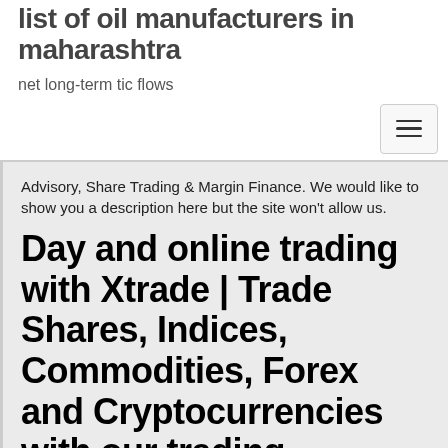list of oil manufacturers in maharashtra
net long-term tic flows
Advisory, Share Trading & Margin Finance. We would like to show you a description here but the site won't allow us.
Day and online trading with Xtrade | Trade Shares, Indices, Commodities, Forex and Cryptocurrencies with our trading platform. Trade anytime and anywhere,